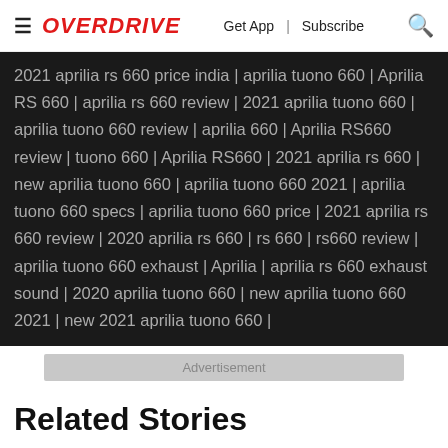OVERDRIVE | Get App | Subscribe
2021 aprilia rs 660 price india | aprilia tuono 660 | Aprilia RS 660 | aprilia rs 660 review | 2021 aprilia tuono 660 | aprilia tuono 660 review | aprilia 660 | Aprilia RS660 review | tuono 660 | Aprilia RS660 | 2021 aprilia rs 660 | new aprilia tuono 660 | aprilia tuono 660 2021 | aprilia tuono 660 specs | aprilia tuono 660 price | 2021 aprilia rs 660 review | 2020 aprilia rs 660 | rs 660 | rs660 review | aprilia tuono 660 exhaust | Aprilia | aprilia rs 660 exhaust sound | 2020 aprilia tuono 660 | new aprilia tuono 660 2021 | new 2021 aprilia tuono 660 |
Advertisement
Related Stories